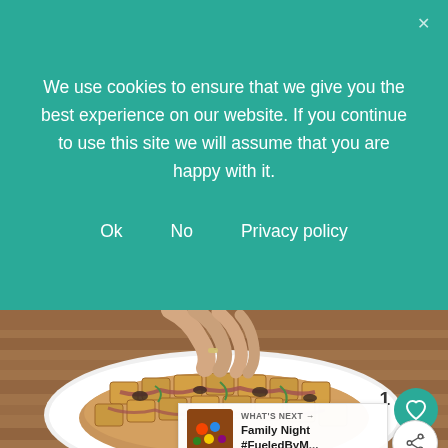We use cookies to ensure that we give you the best experience on our website. If you continue to use this site we will assume that you are happy with it.
Ok
No
Privacy policy
[Figure (photo): A hand pulling apart a pull-apart bread loaf topped with ham, swiss cheese, and green onions on a white plate, placed on a wooden surface.]
“This post first appeared over at Real Housemoms where I’m a contributor.” This pull apart b... made with cheesy, gooey swiss, Virginia ham, and takes less than 30 minutes to make. Perfect for
WHAT’S NEXT → Family Night #FueledByM...